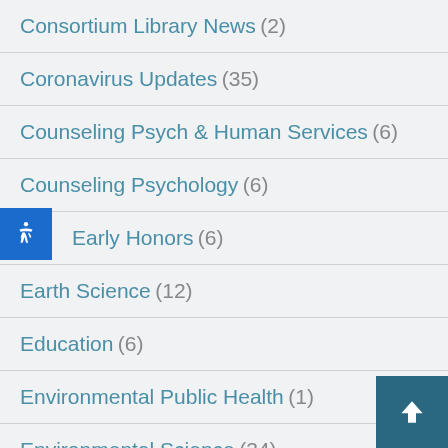Consortium Library News (2)
Coronavirus Updates (35)
Counseling Psych & Human Services (6)
Counseling Psychology (6)
Early Honors (6)
Earth Science (12)
Education (6)
Environmental Public Health (1)
Environmental Science (34)